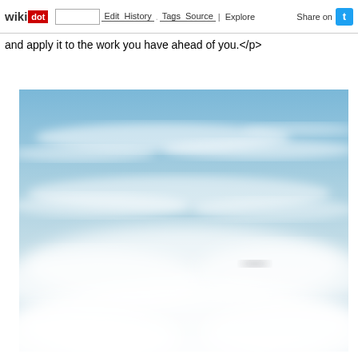wikidot | site Edit History Tags Source Explore Share on
and apply it to the work you have ahead of you.</p>
[Figure (photo): A photograph of a blue sky with white clouds, showing wispy cirrus clouds at the top transitioning to thicker white clouds at the bottom.]